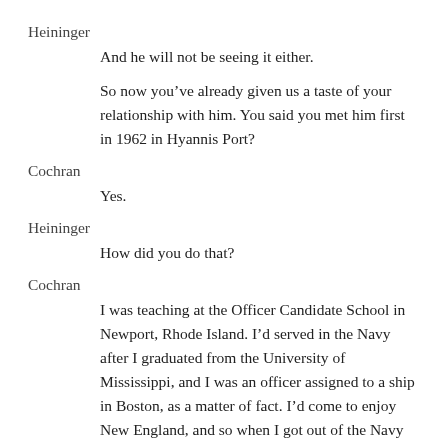Heininger
And he will not be seeing it either.
So now you’ve already given us a taste of your relationship with him. You said you met him first in 1962 in Hyannis Port?
Cochran
Yes.
Heininger
How did you do that?
Cochran
I was teaching at the Officer Candidate School in Newport, Rhode Island. I’d served in the Navy after I graduated from the University of Mississippi, and I was an officer assigned to a ship in Boston, as a matter of fact. I’d come to enjoy New England, and so when I got out of the Navy